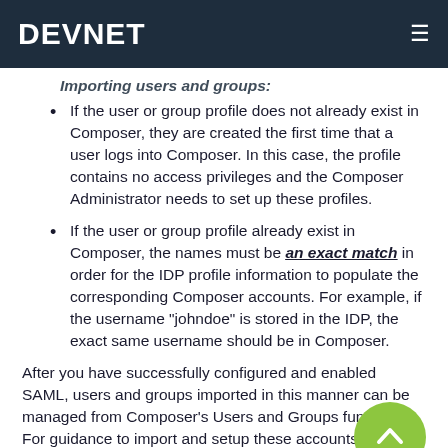DEVNET
Importing users and groups:
If the user or group profile does not already exist in Composer, they are created the first time that a user logs into Composer. In this case, the profile contains no access privileges and the Composer Administrator needs to set up these profiles.
If the user or group profile already exist in Composer, the names must be an exact match in order for the IDP profile information to populate the corresponding Composer accounts. For example, if the username "johndoe" is stored in the IDP, the exact same username should be in Composer.
After you have successfully configured and enabled SAML, users and groups imported in this manner can be managed from Composer's Users and Groups function. For guidance to import and setup these accounts, see Manage User...